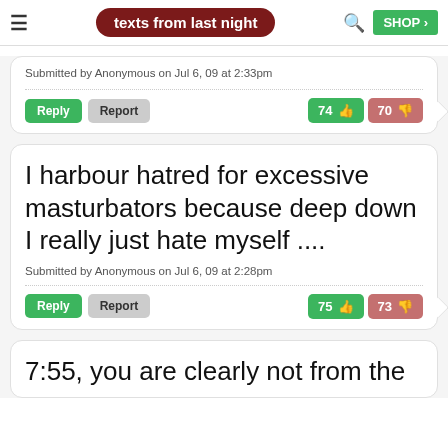texts from last night
Submitted by Anonymous on Jul 6, 09 at 2:33pm
Reply | Report | 74 👍 | 70 👎
I harbour hatred for excessive masturbators because deep down I really just hate myself ....
Submitted by Anonymous on Jul 6, 09 at 2:28pm
Reply | Report | 75 👍 | 73 👎
7:55, you are clearly not from the